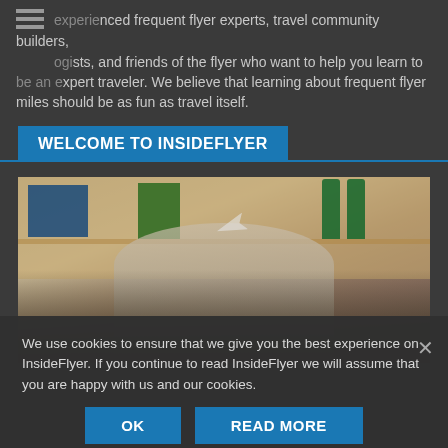experienced frequent flyer experts, travel community builders, blogists, and friends of the flyer who want to help you learn to be an expert traveler. We believe that learning about frequent flyer miles should be as fun as travel itself.
WELCOME TO INSIDEFLYER
[Figure (photo): An older man with white hair sitting at a desk, holding up a paper airplane, with bookshelves in the background.]
We use cookies to ensure that we give you the best experience on InsideFlyer. If you continue to read InsideFlyer we will assume that you are happy with us and our cookies.